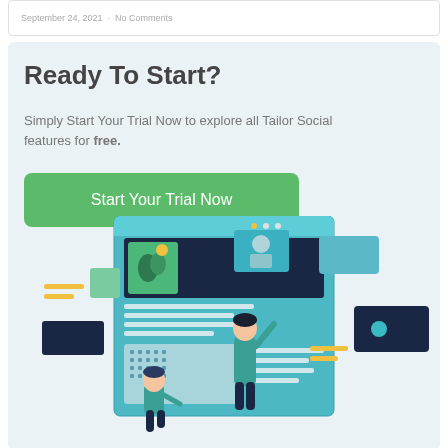September 24, 2021  ·  No Comments
Ready To Start?
Simply Start Your Trial Now to explore all Tailor Social features for free.
Start Your Trial Now
[Figure (illustration): Illustration of a web interface with social media content cards, calendar, and two people interacting with a large screen dashboard displaying posts, images, and media content blocks in teal, navy, and yellow colors.]